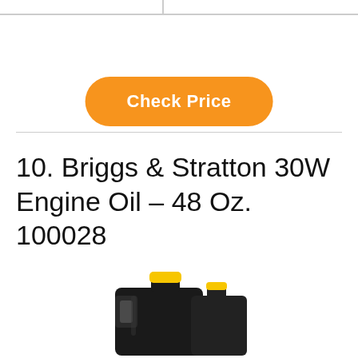[Figure (other): Orange rounded button with white bold text 'Check Price']
10. Briggs & Stratton 30W Engine Oil – 48 Oz. 100028
[Figure (photo): Black plastic jug of engine oil with yellow cap, 48 oz Briggs & Stratton 30W Engine Oil]